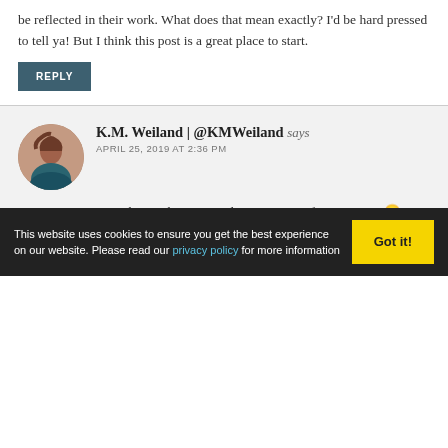be reflected in their work. What does that mean exactly? I'd be hard pressed to tell ya! But I think this post is a great place to start.
REPLY
K.M. Weiland | @KMWeiland says
APRIL 25, 2019 AT 2:36 PM
[Figure (photo): Circular avatar photo of K.M. Weiland, a woman with brown hair]
Hear, hear! I hope to explore it more in future posts. 😀
REPLY
This website uses cookies to ensure you get the best experience on our website. Please read our privacy policy for more information